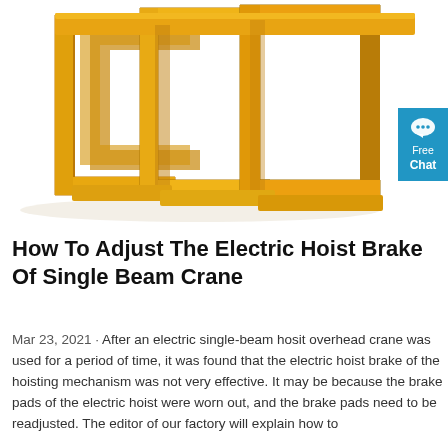[Figure (photo): Yellow metal C-hook / beam lifting clamps arranged in a cluster, industrial crane attachment equipment, 3D rendered or photographed against white background. A blue 'Free Chat' button overlay appears at the right edge.]
How To Adjust The Electric Hoist Brake Of Single Beam Crane
Mar 23, 2021 · After an electric single-beam hosit overhead crane was used for a period of time, it was found that the electric hoist brake of the hoisting mechanism was not very effective. It may be because the brake pads of the electric hoist were worn out, and the brake pads need to be readjusted. The editor of our factory will explain how to